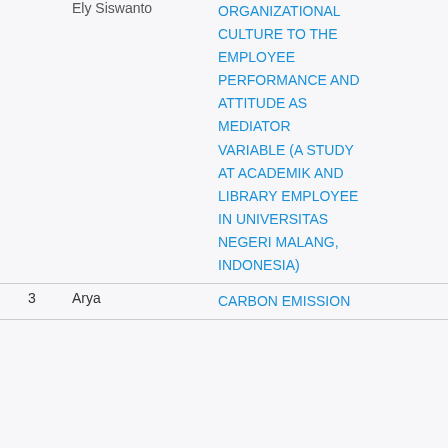| No | Author | Title | Page |
| --- | --- | --- | --- |
|  | Ely Siswanto | ORGANIZATIONAL CULTURE TO THE EMPLOYEE PERFORMANCE AND ATTITUDE AS MEDIATOR VARIABLE (A STUDY AT ACADEMIK AND LIBRARY EMPLOYEE IN UNIVERSITAS NEGERI MALANG, INDONESIA) |  |
| 3 | Arya | CARBON EMISSION | 21- |